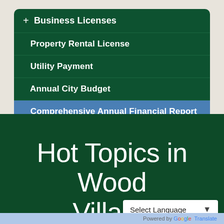+ Business Licenses
Property Rental License
Utility Payment
Annual City Budget
Comprehensive Annual Financial Report
Hot Topics in Wood Village
Select Language
Powered by Google Translate